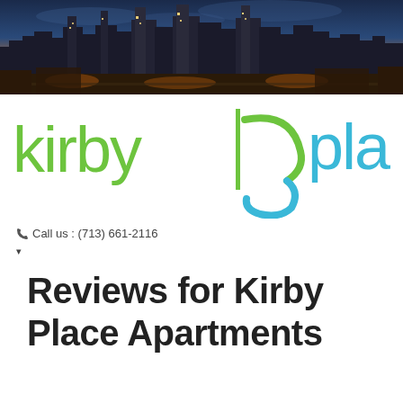[Figure (photo): City skyline at dusk/night with tall buildings against a blue and orange sky]
[Figure (logo): Kirby Place Apartments logo — 'kirby' in green, a stylized K/6 symbol in green and blue, 'place' in blue]
Call us : (713) 661-2116
Reviews for Kirby Place Apartments